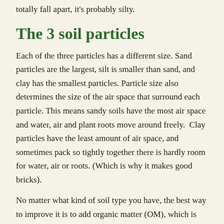totally fall apart, it's probably silty.
The 3 soil particles
Each of the three particles has a different size. Sand particles are the largest, silt is smaller than sand, and clay has the smallest particles. Particle size also determines the size of the air space that surround each particle. This means sandy soils have the most air space and water, air and plant roots move around freely.  Clay particles have the least amount of air space, and sometimes pack so tightly together there is hardly room for water, air or roots. (Which is why it makes good bricks).
No matter what kind of soil type you have, the best way to improve it is to add organic matter (OM), which is decomposed plant material and/or animal manure. OM helps each soil type in some way, it adds air space but